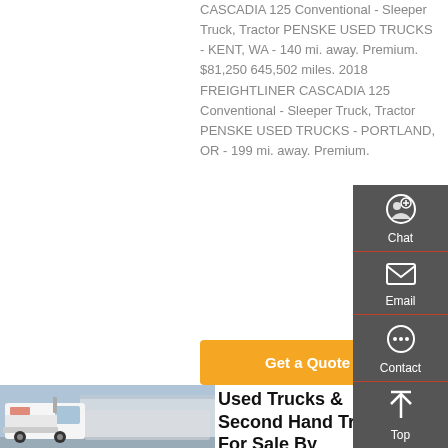CASCADIA 125 Conventional - Sleeper Truck, Tractor PENSKE USED TRUCKS - KENT, WA - 140 mi. away. Premium. $81,250 645,502 miles. 2018 FREIGHTLINER CASCADIA 125 Conventional - Sleeper Truck, Tractor PENSKE USED TRUCKS - PORTLAND, OR - 199 mi. away. Premium.
Get a Quote
[Figure (photo): White semi truck / tractor unit parked in front of a building]
Used Trucks & Second Hand Trucks For Sale By